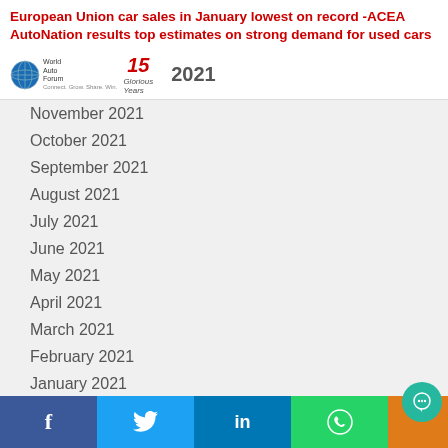European Union car sales in January lowest on record -ACEA
AutoNation results top estimates on strong demand for used cars
[Figure (logo): World Auto Forum 15 Glorious Years logo with 2021 year label]
November 2021
October 2021
September 2021
August 2021
July 2021
June 2021
May 2021
April 2021
March 2021
February 2021
January 2021
December 2020
November 2020
October 2020
September 2020
Facebook | Twitter | LinkedIn | WhatsApp | Chat